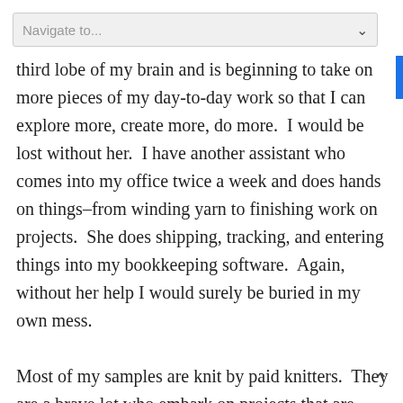Navigate to...
third lobe of my brain and is beginning to take on more pieces of my day-to-day work so that I can explore more, create more, do more.  I would be lost without her.  I have another assistant who comes into my office twice a week and does hands on things–from winding yarn to finishing work on projects.  She does shipping, tracking, and entering things into my bookkeeping software.  Again, without her help I would surely be buried in my own mess.

Most of my samples are knit by paid knitters.  They are a brave lot who embark on projects that are often still in process.  They must be my eyes as I am not seeing what is happening except through weekly photos.  I have